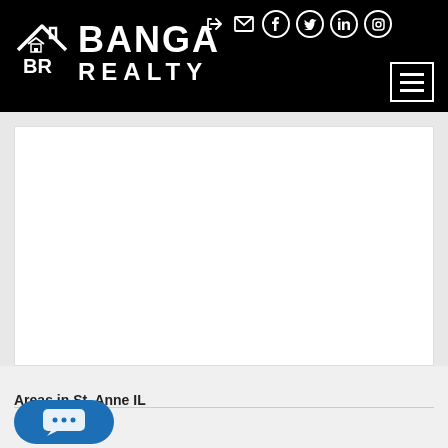Banga Realty
[Figure (screenshot): White empty content area / card in the main body of the page]
Areas in St. Anne IL
[Figure (other): Blue chat button with speech bubble icon at bottom left]